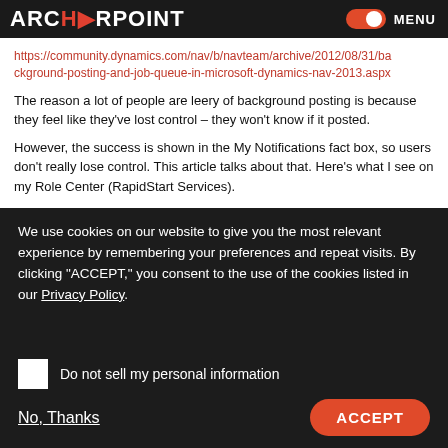ARCHERPOINT  MENU
https://community.dynamics.com/nav/b/navteam/archive/2012/08/31/background-posting-and-job-queue-in-microsoft-dynamics-nav-2013.aspx
The reason a lot of people are leery of background posting is because they feel like they've lost control – they won't know if it posted.
However, the success is shown in the My Notifications fact box, so users don't really lose control. This article talks about that. Here's what I see on my Role Center (RapidStart Services).
We use cookies on our website to give you the most relevant experience by remembering your preferences and repeat visits. By clicking "ACCEPT," you consent to the use of the cookies listed in our Privacy Policy.
Do not sell my personal information
No, Thanks
ACCEPT